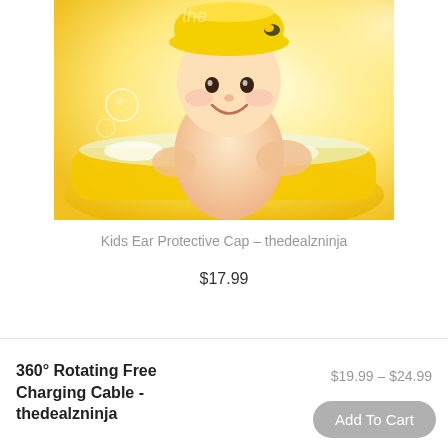[Figure (photo): A smiling baby/toddler sitting in a yellow bathtub with soap foam, wearing a yellow hat, with bubbles visible. Product photo for Kids Ear Protective Cap.]
Kids Ear Protective Cap – thedealzninja
$17.99
360° Rotating Free Charging Cable - thedealzninja
$19.99 – $24.99
Add To Cart